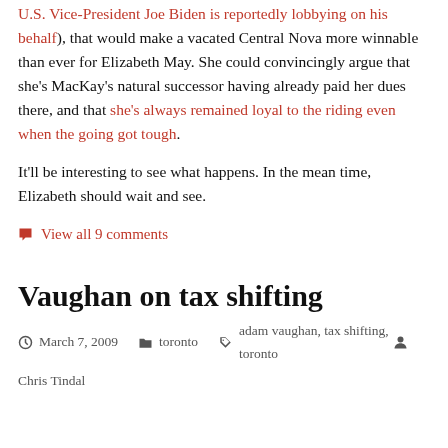U.S. Vice-President Joe Biden is reportedly lobbying on his behalf), that would make a vacated Central Nova more winnable than ever for Elizabeth May. She could convincingly argue that she's MacKay's natural successor having already paid her dues there, and that she's always remained loyal to the riding even when the going got tough.
It'll be interesting to see what happens. In the mean time, Elizabeth should wait and see.
View all 9 comments
Vaughan on tax shifting
March 7, 2009   toronto   adam vaughan, tax shifting, toronto   Chris Tindal